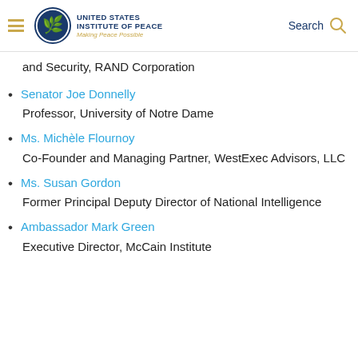United States Institute of Peace — Making Peace Possible | Search
and Security, RAND Corporation
Senator Joe Donnelly
Professor, University of Notre Dame
Ms. Michèle Flournoy
Co-Founder and Managing Partner, WestExec Advisors, LLC
Ms. Susan Gordon
Former Principal Deputy Director of National Intelligence
Ambassador Mark Green
Executive Director, McCain Institute